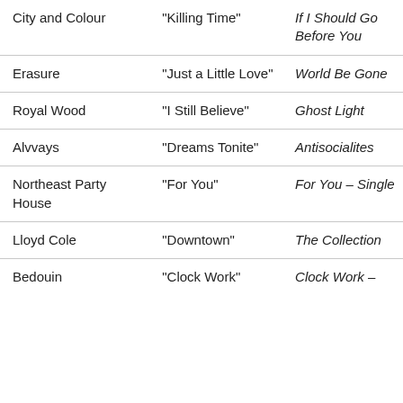| City and Colour | “Killing Time” | If I Should Go Before You |
| Erasure | “Just a Little Love” | World Be Gone |
| Royal Wood | “I Still Believe” | Ghost Light |
| Alvvays | “Dreams Tonite” | Antisocialites |
| Northeast Party House | “For You” | For You – Single |
| Lloyd Cole | “Downtown” | The Collection |
| Bedouin | “Clock Work” | Clock Work – |